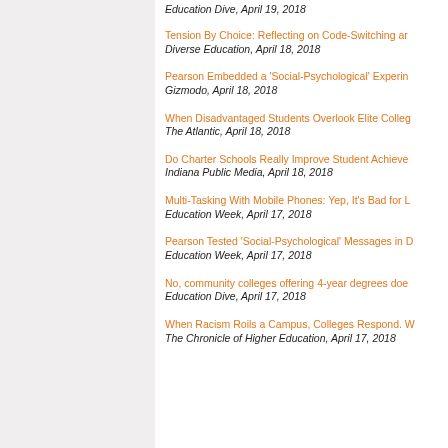Education Dive, April 19, 2018
Tension By Choice: Reflecting on Code-Switching ar... | Diverse Education, April 18, 2018
Pearson Embedded a 'Social-Psychological' Experim... | Gizmodo, April 18, 2018
When Disadvantaged Students Overlook Elite Colleg... | The Atlantic, April 18, 2018
Do Charter Schools Really Improve Student Achieve... | Indiana Public Media, April 18, 2018
Multi-Tasking With Mobile Phones: Yep, It's Bad for L... | Education Week, April 17, 2018
Pearson Tested 'Social-Psychological' Messages in D... | Education Week, April 17, 2018
No, community colleges offering 4-year degrees doe... | Education Dive, April 17, 2018
When Racism Roils a Campus, Colleges Respond. W... | The Chronicle of Higher Education, April 17, 2018